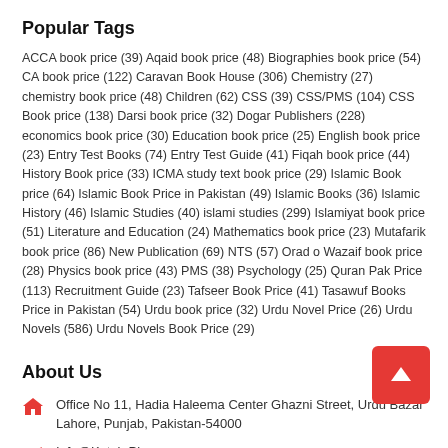Popular Tags
ACCA book price (39) Aqaid book price (48) Biographies book price (54) CA book price (122) Caravan Book House (306) Chemistry (27) chemistry book price (48) Children (62) CSS (39) CSS/PMS (104) CSS Book price (138) Darsi book price (32) Dogar Publishers (228) economics book price (30) Education book price (25) English book price (23) Entry Test Books (74) Entry Test Guide (41) Fiqah book price (44) History Book price (33) ICMA study text book price (29) Islamic Book price (64) Islamic Book Price in Pakistan (49) Islamic Books (36) Islamic History (46) Islamic Studies (40) islami studies (299) Islamiyat book price (51) Literature and Education (24) Mathematics book price (23) Mutafarik book price (86) New Publication (69) NTS (57) Orad o Wazaif book price (28) Physics book price (43) PMS (38) Psychology (25) Quran Pak Price (113) Recruitment Guide (23) Tafseer Book Price (41) Tasawuf Books Price in Pakistan (54) Urdu book price (32) Urdu Novel Price (26) Urdu Novels (586) Urdu Novels Book Price (29)
About Us
Office No 11, Hadia Haleema Center Ghazni Street, Urdu Bazar Lahore, Punjab, Pakistan-54000
Info@Ketab.Pk
0321 407 6360